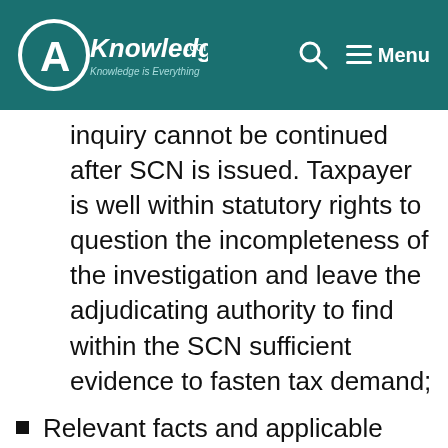AKnowledge.com — Knowledge is Everything | Search | Menu
inquiry cannot be continued after SCN is issued. Taxpayer is well within statutory rights to question the incompleteness of the investigation and leave the adjudicating authority to find within the SCN sufficient evidence to fasten tax demand;
Relevant facts and applicable provisions of law including judicial authorities (case laws) are considered. Relevant facts are facts